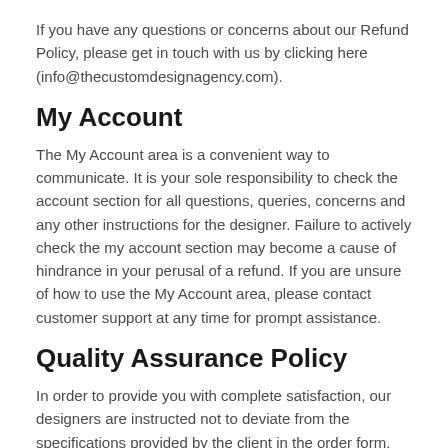If you have any questions or concerns about our Refund Policy, please get in touch with us by clicking here (info@thecustomdesignagency.com).
My Account
The My Account area is a convenient way to communicate. It is your sole responsibility to check the account section for all questions, queries, concerns and any other instructions for the designer. Failure to actively check the my account section may become a cause of hindrance in your perusal of a refund. If you are unsure of how to use the My Account area, please contact customer support at any time for prompt assistance.
Quality Assurance Policy
In order to provide you with complete satisfaction, our designers are instructed not to deviate from the specifications provided by the client in the order form.
The designs are crafted after adequate and thorough